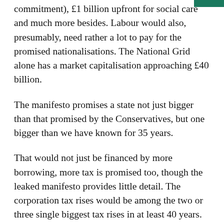commitment), £1 billion upfront for social care and much more besides. Labour would also, presumably, need rather a lot to pay for the promised nationalisations. The National Grid alone has a market capitalisation approaching £40 billion.
The manifesto promises a state not just bigger than that promised by the Conservatives, but one bigger than we have known for 35 years.
That would not just be financed by more borrowing, more tax is promised too, though the leaked manifesto provides little detail. The corporation tax rises would be among the two or three single biggest tax rises in at least 40 years. More would also be taken from the top 5 per cent — those with an income of more than £80,000 a year. Other smaller tax rises have been announced though increases are ruled out for VAT, personal national insurance contributions, and income t...